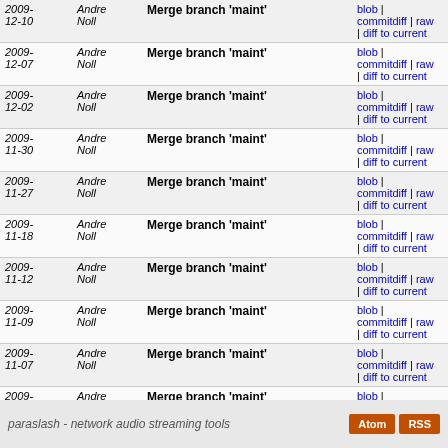| Date | Author | Message | Actions |
| --- | --- | --- | --- |
| 2009-12-10 | Andre Noll | Merge branch 'maint' | blob | commitdiff | raw | diff to current |
| 2009-12-07 | Andre Noll | Merge branch 'maint' | blob | commitdiff | raw | diff to current |
| 2009-12-02 | Andre Noll | Merge branch 'maint' | blob | commitdiff | raw | diff to current |
| 2009-11-30 | Andre Noll | Merge branch 'maint' | blob | commitdiff | raw | diff to current |
| 2009-11-27 | Andre Noll | Merge branch 'maint' | blob | commitdiff | raw | diff to current |
| 2009-11-18 | Andre Noll | Merge branch 'maint' | blob | commitdiff | raw | diff to current |
| 2009-11-12 | Andre Noll | Merge branch 'maint' | blob | commitdiff | raw | diff to current |
| 2009-11-09 | Andre Noll | Merge branch 'maint' | blob | commitdiff | raw | diff to current |
| 2009-11-07 | Andre Noll | Merge branch 'maint' | blob | commitdiff | raw | diff to current |
| 2009-11-06 | Andre Noll | Merge branch 'maint' | blob | commitdiff | raw | diff to current |
| 2009-11-05 | Andre Noll | Merge branch 'maint' | blob | commitdiff | raw | diff to current |
next
paraslash - network audio streaming tools | Atom | RSS